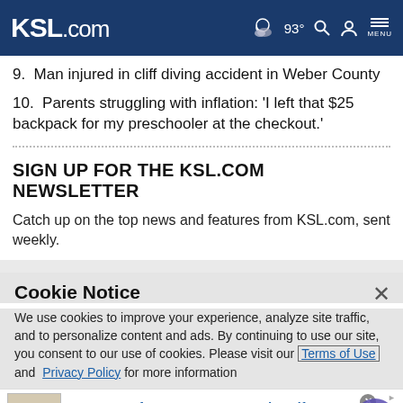KSL.com  93°  MENU
9. Man injured in cliff diving accident in Weber County
10. Parents struggling with inflation: 'I left that $25 backpack for my preschooler at the checkout.'
SIGN UP FOR THE KSL.COM NEWSLETTER
Catch up on the top news and features from KSL.com, sent weekly.
Cookie Notice
We use cookies to improve your experience, analyze site traffic, and to personalize content and ads. By continuing to use our site, you consent to our use of cookies. Please visit our Terms of Use and Privacy Policy for more information
[Figure (screenshot): Advertisement banner for 1800flowers.com: 'Get a Taste for Our Gourmet Food & Gift', Chocolate Gifts - Fruit Baskets - Baked Goods, www.1800flowers.com]